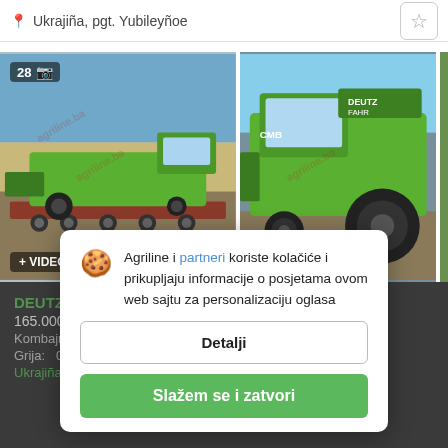Ukrajiña, pgt. Yubileyñoe
[Figure (photo): Green Deutz-Fahr combine harvester loaded on a low-loader transport truck, aerial/side view, with '28' photo count badge and video badge]
[Figure (photo): Green Deutz-Fahr combine harvester CMB series, close-up side view showing cab and wheels]
DEUTZ-FAHR ... 165.000 ...
Kombajn ...
Ukrajiña, pgt. Yubileyñoe
Agriline i partneri koriste kolačiće i prikupljaju informacije o posjetama ovom web sajtu za personalizaciju oglasa
Detalji
Slažem se i zatvori